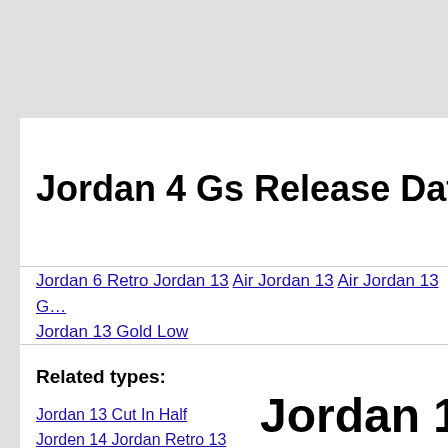Jordan 4 Gs Release Date
Jordan 6 Retro Jordan 13 Air Jordan 13 Air Jordan 13 G Jordan 13 Gold Low
Related types:
Jordan 13 Cut In Half
Jorden 14 Jordan Retro 13
Jordans 13 Red Brown White
Jordan 1
Release date-2020